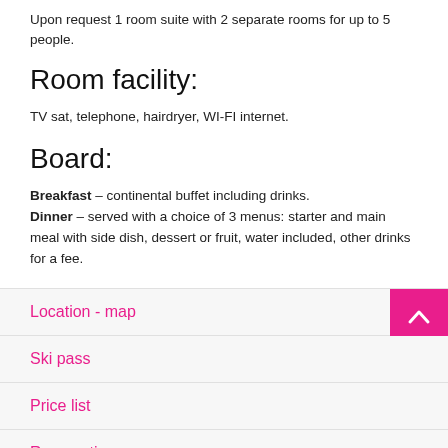Upon request 1 room suite with 2 separate rooms for up to 5 people.
Room facility:
TV sat, telephone, hairdryer, WI-FI internet.
Board:
Breakfast – continental buffet including drinks. Dinner – served with a choice of 3 menus: starter and main meal with side dish, dessert or fruit, water included, other drinks for a fee.
Location - map
Ski pass
Price list
Reservation